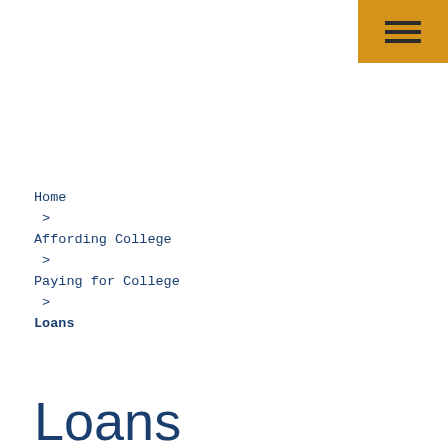[Figure (other): Navigation menu hamburger icon button with golden/amber background color in top right corner]
Home
>
Affording College
>
Paying for College
>
Loans
Loans